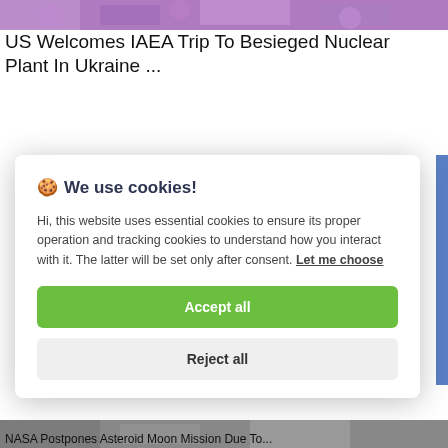[Figure (photo): Purple flowers background image strip at top]
US Welcomes IAEA Trip To Besieged Nuclear Plant In Ukraine ...
🍪 We use cookies!

Hi, this website uses essential cookies to ensure its proper operation and tracking cookies to understand how you interact with it. The latter will be set only after consent. Let me choose

[Accept all button]
[Reject all button]
[Figure (photo): Partial image at bottom with text: NASA Postpones Asteroid Moon Mission Due To...]